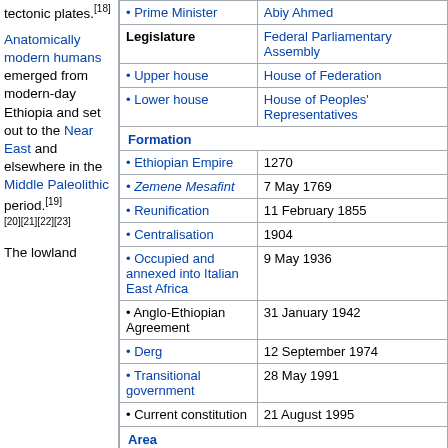tectonic plates.[18]
Anatomically modern humans emerged from modern-day Ethiopia and set out to the Near East and elsewhere in the Middle Paleolithic period.[19][20][21][22][23]
The lowland
|  |  |
| --- | --- |
| • Prime Minister | Abiy Ahmed |
| Legislature | Federal Parliamentary Assembly |
| • Upper house | House of Federation |
| • Lower house | House of Peoples' Representatives |
| Formation |  |
| • Ethiopian Empire | 1270 |
| • Zemene Mesafint | 7 May 1769 |
| • Reunification | 11 February 1855 |
| • Centralisation | 1904 |
| • Occupied and annexed into Italian East Africa | 9 May 1936 |
| • Anglo-Ethiopian Agreement | 31 January 1942 |
| • Derg | 12 September 1974 |
| • Transitional government | 28 May 1991 |
| • Current constitution | 21 August 1995 |
| Area |  |